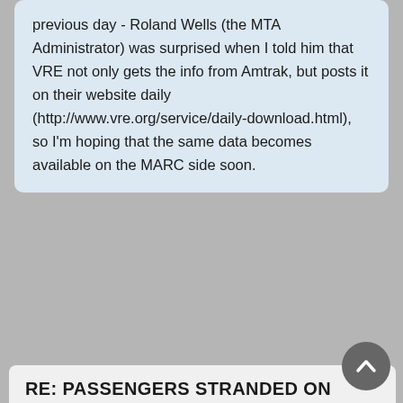previous day - Roland Wells (the MTA Administrator) was surprised when I told him that VRE not only gets the info from Amtrak, but posts it on their website daily (http://www.vre.org/service/daily-download.html), so I'm hoping that the same data becomes available on the MARC side soon.
RE: PASSENGERS STRANDED ON MARC TRAIN FOR HOURS
#823459 by Jersey_Mike
Fri Jul 02, 2010 7:42 am
Yeah, that plan seems like it'll help if it's implemented correctly. My favorite part wasn't mentioned in the article, there's a new policy that no train (Amtrak or MARC) is to pass by a disabled train without stopping to pick